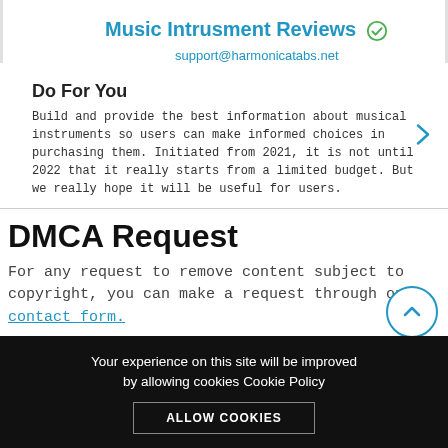Music Intrusment Reviews ✓
support@harmonicatabs.net
Do For You
Build and provide the best information about musical instruments so users can make informed choices in purchasing them. Initiated from 2021, it is not until 2022 that it really starts from a limited budget. But we really hope it will be useful for users.
DMCA Request
For any request to remove content subject to copyright, you can make a request through our contact form.
Your experience on this site will be improved by allowing cookies Cookie Policy
ALLOW COOKIES